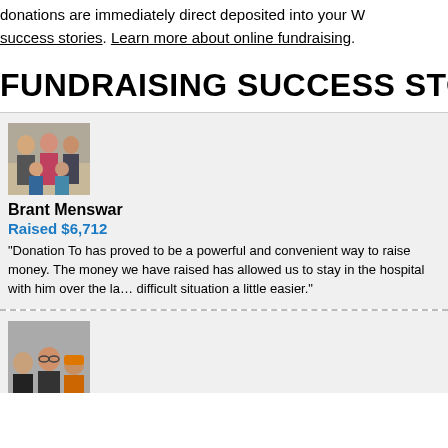donations are immediately direct deposited into your W success stories. Learn more about online fundraising.
FUNDRAISING SUCCESS STOR
[Figure (photo): Group photo of a family with adults and children]
Brant Menswar
Raised $6,712
"Donation To has proved to be a powerful and convenient way to raise money. The money we have raised has allowed us to stay in the hospital with him over the last difficult situation a little easier."
[Figure (photo): Group photo with two adults and a child]